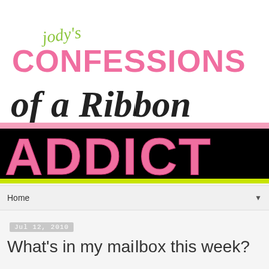[Figure (logo): Jody's Confessions of a Ribbon Addict blog logo — decorative script 'jody's' in green, large pink 'CONFESSIONS', large black script 'of a Ribbon', dark grey banner with large pink 'ADDICT', lime green stripe at bottom]
Home ▼
Jul 12, 2010
What's in my mailbox this week?